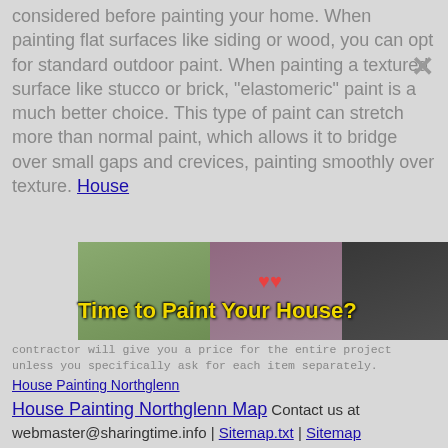The material of the home's surface should be considered before painting your home. When painting flat surfaces like siding or wood, you can opt for standard outdoor paint. When painting a textured surface like stucco or brick, "elastomeric" paint is a much better choice. This type of paint can stretch more than normal paint, which allows it to bridge over small gaps and crevices, painting smoothly over texture. House
[Figure (photo): Three-panel composite photo of house painting scenes with bold yellow text overlay reading 'Time to Paint Your House?' and red bird-like marks. Left panel shows person on ladder with siding, middle shows brick house exterior, right shows indoor scaffolding work.]
Fami... gulati...
When... project... m, a gara... calc... line... contractor will give you a price for the entire project unless you specifically ask for each item separately.
House Painting Northglenn
House Painting Northglenn Map Contact us at webmaster@sharingtime.info | Sitemap.txt | Sitemap